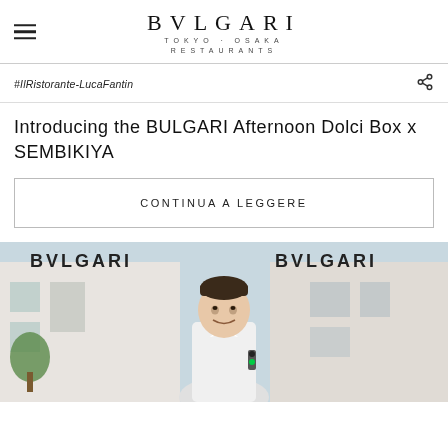BVLGARI TOKYO·OSAKA RESTAURANTS
#IlRistorante-LucaFantin
Introducing the BULGARI Afternoon Dolci Box x SEMBIKIYA
CONTINUA A LEGGERE
[Figure (photo): Man in white chef jacket standing in front of a BVLGARI building facade with BVLGARI signage visible on both sides]